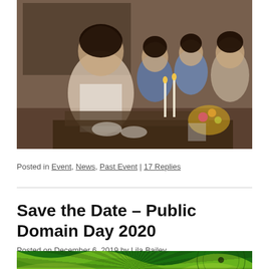[Figure (photo): A family or group photo of Asian women and children at a dinner table with candles and flowers, dressed in blue clothing, smiling and celebrating]
Posted in Event, News, Past Event | 17 Replies
Save the Date – Public Domain Day 2020
Posted on December 6, 2019 by Lila Bailey
[Figure (photo): Partial image of a vinyl record with green and yellow swirling pattern visible at the bottom of the page]